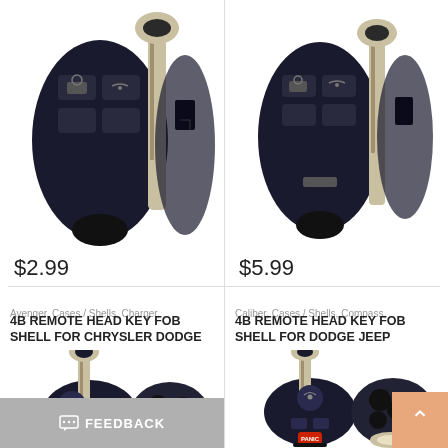[Figure (photo): Car key fob shell disassembled, top view, left product]
$2.99
[Figure (photo): Car key fob shell disassembled, top view, right product]
$5.99
Avenger, Cases / Shells, Charger,
4B REMOTE HEAD KEY FOB SHELL FOR CHRYSLER DODGE
[Figure (photo): 4B remote head key fob shell for Chrysler Dodge, two pieces shown]
Caliber, Cases / Shells, Compass,
4B REMOTE HEAD KEY FOB SHELL FOR DODGE JEEP
[Figure (photo): 4B remote head key fob shell for Dodge Jeep, two pieces shown with red PANIC button]
FEEDBACK